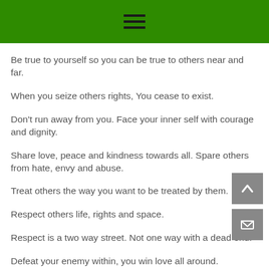≡
Be true to yourself so you can be true to others near and far.
When you seize others rights, You cease to exist.
Don't run away from you. Face your inner self with courage and dignity.
Share love, peace and kindness towards all. Spare others from hate, envy and abuse.
Treat others the way you want to be treated by them.
Respect others life, rights and space.
Respect is a two way street. Not one way with a dead end.
Defeat your enemy within, you win love all around.
When others define you, that is impression. When you define...